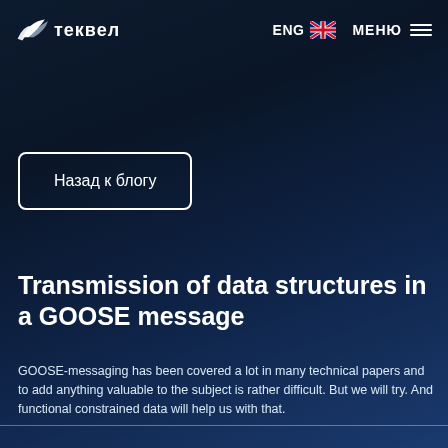ТЕКВЕЛ | ENG | МЕНЮ
Назад к блогу
Transmission of data structures in a GOOSE message
GOOSE-messaging has been covered a lot in many technical papers and to add anything valuable to the subject is rather difficult. But we will try. And functional constrained data will help us with that.